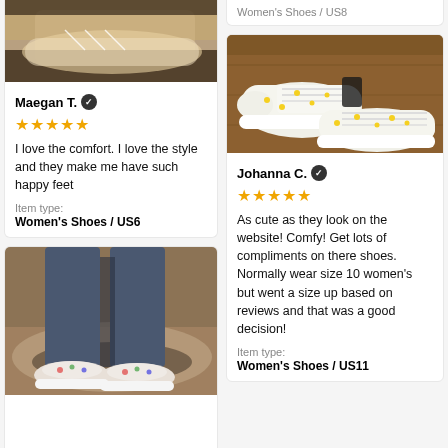[Figure (photo): Photo of someone wearing patterned sneakers, close-up of feet/ankles on wooden surface]
Maegan T. ✓
★★★★★
I love the comfort.  I love the style and they make me have such happy feet
Item type:
Women's Shoes / US6
[Figure (photo): Photo of person wearing patterned sneakers, showing legs in jeans on a patterned rug]
Women's Shoes / US8
[Figure (photo): Photo of a pair of floral/daisy patterned white canvas sneakers on a wooden floor]
Johanna C. ✓
★★★★★
As cute as they look on the website! Comfy! Get lots of compliments on there shoes. Normally wear size 10 women's but went a size up based on reviews and that was a good decision!
Item type:
Women's Shoes / US11